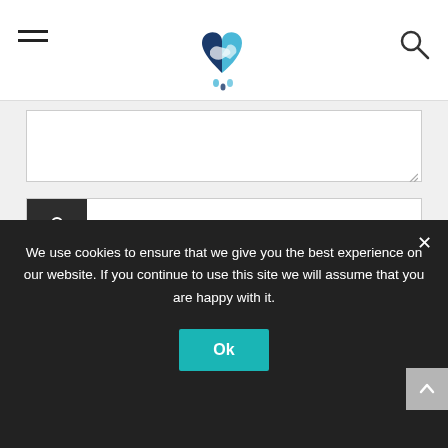[Figure (logo): Heart-shaped logo with two hands (dark blue and light blue) shaking inside a heart shape]
[Figure (other): Hamburger menu icon (three horizontal lines) on left]
[Figure (other): Search/magnifying glass icon on right]
[Figure (screenshot): A contact form with textarea, Name field with person icon, E-mail field with envelope icon, Website field with link icon, and partially visible Submit button]
We use cookies to ensure that we give you the best experience on our website. If you continue to use this site we will assume that you are happy with it.
Ok